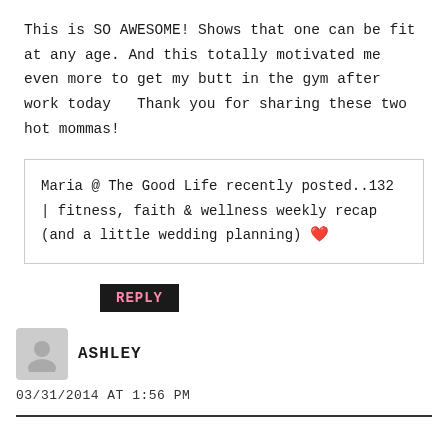This is SO AWESOME! Shows that one can be fit at any age. And this totally motivated me even more to get my butt in the gym after work today 🙂 Thank you for sharing these two hot mommas!
Maria @ The Good Life recently posted..132 | fitness, faith & wellness weekly recap (and a little wedding planning) ❤
REPLY
ASHLEY
03/31/2014 AT 1:56 PM